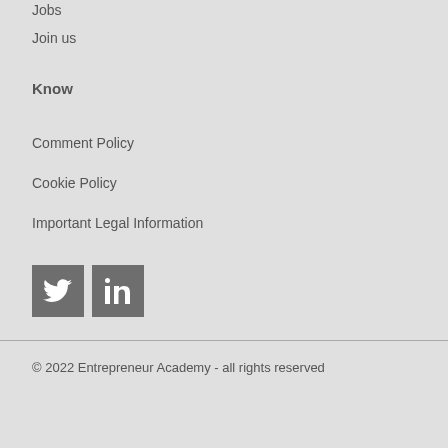Jobs
Join us
Know
Comment Policy
Cookie Policy
Important Legal Information
[Figure (logo): Twitter and LinkedIn social media icon buttons in dark gray square backgrounds]
© 2022 Entrepreneur Academy - all rights reserved